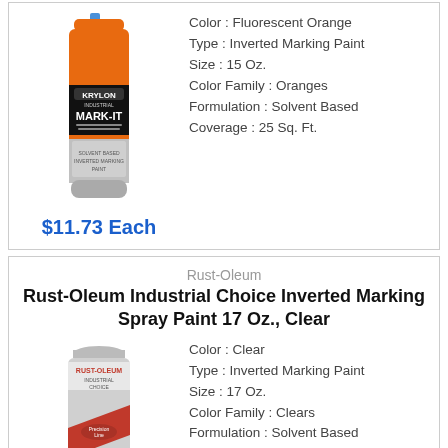[Figure (photo): Krylon Industrial Mark-It inverted marking spray paint can, orange color]
Color : Fluorescent Orange
Type : Inverted Marking Paint
Size : 15 Oz.
Color Family : Oranges
Formulation : Solvent Based
Coverage : 25 Sq. Ft.
$11.73 Each
Rust-Oleum
Rust-Oleum Industrial Choice Inverted Marking Spray Paint 17 Oz., Clear
[Figure (photo): Rust-Oleum Industrial Choice inverted marking spray paint can, clear color]
Color : Clear
Type : Inverted Marking Paint
Size : 17 Oz.
Color Family : Clears
Formulation : Solvent Based
Coverage : 25 Sq. Ft.